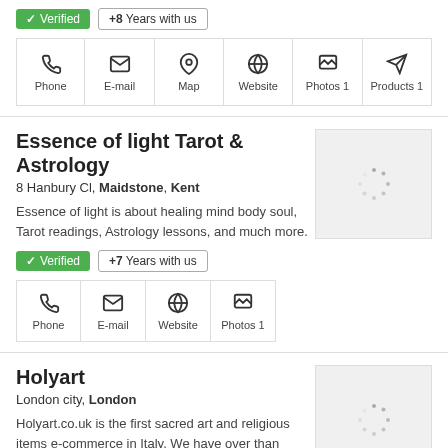Verified  +8 Years with us
Phone, E-mail, Map, Website, Photos 1, Products 1
Essence of light Tarot & Astrology
8 Hanbury Cl, Maidstone, Kent
Essence of light is about healing mind body soul, Tarot readings, Astrology lessons, and much more.
Verified  +7 Years with us
Phone, E-mail, Website, Photos 1
[Figure (photo): Loading spinner thumbnail]
Holyart
London city, London
Holyart.co.uk is the first sacred art and religious items e-commerce in Italy. We have over than 20000 items available...
[Figure (photo): Loading spinner thumbnail]